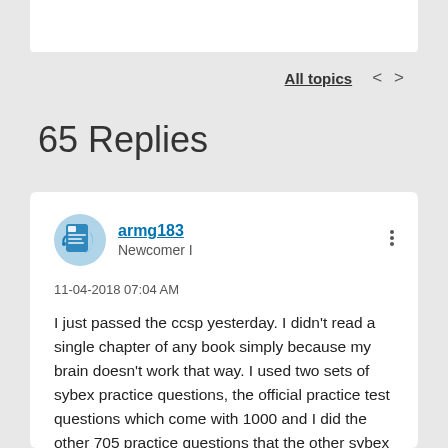All topics  <  >
65 Replies
armg183
Newcomer I
11-04-2018 07:04 AM
I just passed the ccsp yesterday. I didn't read a single chapter of any book simply because my brain doesn't work that way. I used two sets of sybex practice questions, the official practice test questions which come with 1000 and I did the other 705 practice questions that the other sybex study guide gives you access to.